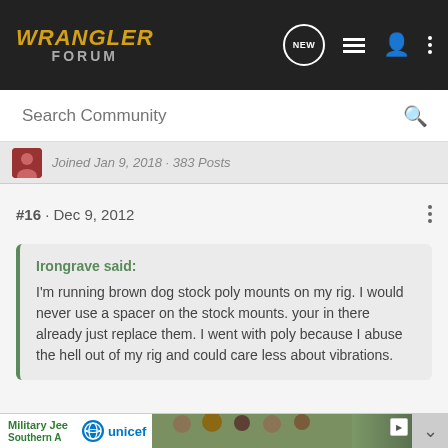WRANGLER FORUM
Search Community
Joined Jan 9, 2018 · 383 Posts
#16 · Dec 9, 2012
Irongrave said:
I'm running brown dog stock poly mounts on my rig. I would never use a spacer on the stock mounts. your in there already just replace them. I went with poly because I abuse the hell out of my rig and could care less about vibrations.
X2. We drive tj's but worry about engine vibes. Everything vibes. Lol
[Figure (screenshot): Advertisement banner showing UNICEF logo and children photo]
Military Jee
Southern A